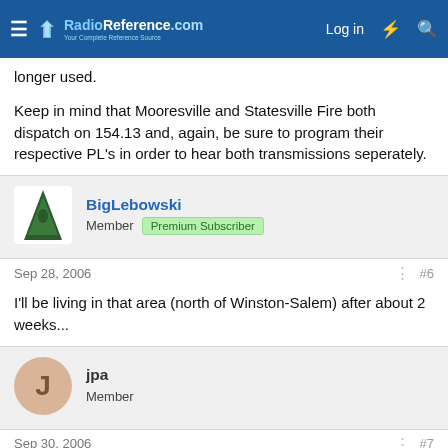RadioReference.com — Your Complete Reference Source | Log in
longer used.
Keep in mind that Mooresville and Statesville Fire both dispatch on 154.13 and, again, be sure to program their respective PL's in order to hear both transmissions seperately.
BigLebowski
Member · Premium Subscriber
Sep 28, 2006
#6
I'll be living in that area (north of Winston-Salem) after about 2 weeks...
jpa
Member
Sep 30, 2006
#7